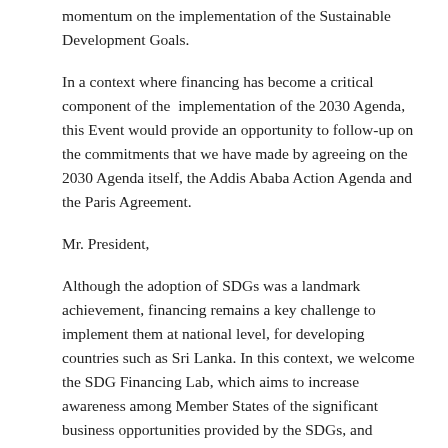momentum on the implementation of the Sustainable Development Goals.
In a context where financing has become a critical component of the implementation of the 2030 Agenda, this Event would provide an opportunity to follow-up on the commitments that we have made by agreeing on the 2030 Agenda itself, the Addis Ababa Action Agenda and the Paris Agreement.
Mr. President,
Although the adoption of SDGs was a landmark achievement, financing remains a key challenge to implement them at national level, for developing countries such as Sri Lanka. In this context, we welcome the SDG Financing Lab, which aims to increase awareness among Member States of the significant business opportunities provided by the SDGs, and provides opportunities for interaction between Member States and private sector actors involved in SDG implementation.
Sri Lanka is utilizing a mix of public, private and innovative finance options at present to achieve its development objectives, in keeping with the Addis Ababa Action Agenda.
In this regard, financing for financial inclusion remains a priority,